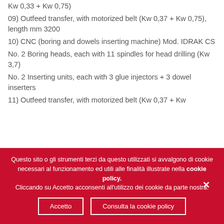Kw 0,33 + Kw 0,75)
09) Outfeed transfer, with motorized belt (Kw 0,37 + Kw 0,75), length mm 3200
10) CNC (boring and dowels inserting machine) Mod. IDRAK CS
No. 2 Boring heads, each with 11 spindles for head drilling (Kw 3,7)
No. 2 Inserting units, each with 3 glue injectors + 3 dowel inserters
11) Outfeed transfer, with motorized belt (Kw 0,37 + Kw
Questo sito o gli strumenti terzi da questo utilizzati si avvalgono di cookie necessari al funzionamento ed utili alle finalità illustrate nella cookie policy. Cliccando su Accetto acconsenti all'utilizzo dei cookie da parte nostra.